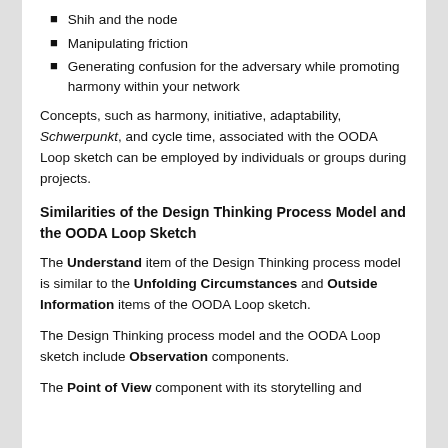Shih and the node
Manipulating friction
Generating confusion for the adversary while promoting harmony within your network
Concepts, such as harmony, initiative, adaptability, Schwerpunkt, and cycle time, associated with the OODA Loop sketch can be employed by individuals or groups during projects.
Similarities of the Design Thinking Process Model and the OODA Loop Sketch
The Understand item of the Design Thinking process model is similar to the Unfolding Circumstances and Outside Information items of the OODA Loop sketch.
The Design Thinking process model and the OODA Loop sketch include Observation components.
The Point of View component with its storytelling and